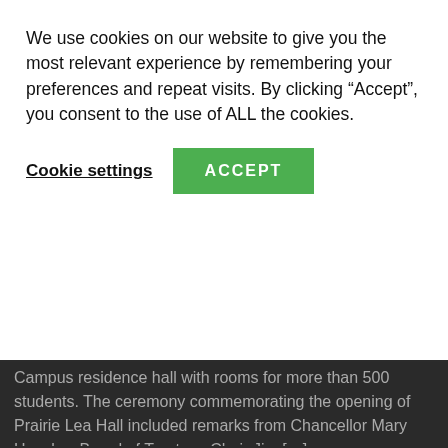We use cookies on our website to give you the most relevant experience by remembering your preferences and repeat visits. By clicking “Accept”, you consent to the use of ALL the cookies.
Cookie settings   ACCEPT
Campus residence hall with rooms for more than 500 students. The ceremony commemorating the opening of Prairie Lea Hall included remarks from Chancellor Mary Hensley, Board of Trustees Chair Jim [...]
Parent PLUS Double Consolidation Loophole | Pay 10% to 15% of Your Income Instead of 20%
Borrowers who have Parent PLUS L... deal with somewhat of a different b... than when a student borrows federal student loans. Parent PLUS Loans stay in the name of the parent who